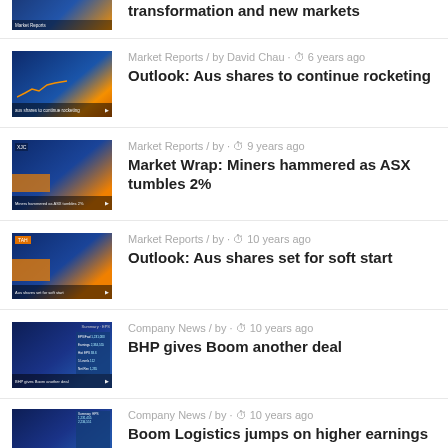[Figure (screenshot): Partially visible news thumbnail at top of page]
transformation and new markets
[Figure (screenshot): Market Reports video thumbnail showing news presenter]
Market Reports / by David Chau · ⏱ 6 years ago
Outlook: Aus shares to continue rocketing
[Figure (screenshot): Market Reports video thumbnail showing female presenter]
Market Reports / by · ⏱ 9 years ago
Market Wrap: Miners hammered as ASX tumbles 2%
[Figure (screenshot): Market Reports video thumbnail showing female presenter with TAH chart]
Market Reports / by · ⏱ 10 years ago
Outlook: Aus shares set for soft start
[Figure (screenshot): Company News video thumbnail showing female presenter with financial data]
Company News / by · ⏱ 10 years ago
BHP gives Boom another deal
[Figure (screenshot): Company News video thumbnail partially visible at bottom]
Company News / by · ⏱ 10 years ago
Boom Logistics jumps on higher earnings